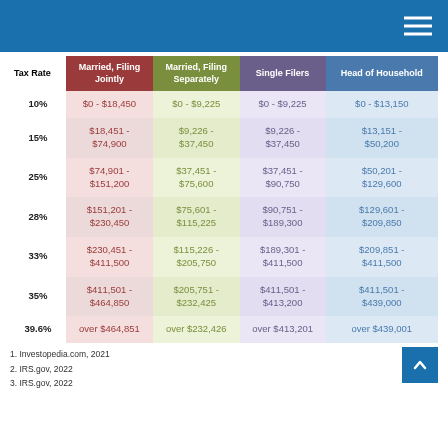| Tax Rate | Married, Filing Jointly | Married, Filing Separately | Single Filers | Head of Household |
| --- | --- | --- | --- | --- |
| 10% | $0 - $18,450 | $0 - $9,225 | $0 - $9,225 | $0 - $13,150 |
| 15% | $18,451 - $74,900 | $9,226 - $37,450 | $9,226 - $37,450 | $13,151 - $50,200 |
| 25% | $74,901 - $151,200 | $37,451 - $75,600 | $37,451 - $90,750 | $50,201 - $129,600 |
| 28% | $151,201 - $230,450 | $75,601 - $115,225 | $90,751 - $189,300 | $129,601 - $209,850 |
| 33% | $230,451 - $411,500 | $115,226 - $205,750 | $189,301 - $411,500 | $209,851 - $411,500 |
| 35% | $411,501 - $464,850 | $205,751 - $232,425 | $411,501 - $413,200 | $411,501 - $439,000 |
| 39.6% | over $464,851 | over $232,426 | over $413,201 | over $439,001 |
1. Investopedia.com, 2021
2. IRS.gov, 2022
3. IRS.gov, 2022